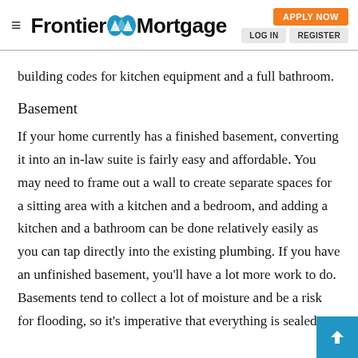Frontier Mortgage — APPLY NOW | LOG IN | REGISTER
building codes for kitchen equipment and a full bathroom.
Basement
If your home currently has a finished basement, converting it into an in-law suite is fairly easy and affordable. You may need to frame out a wall to create separate spaces for a sitting area with a kitchen and a bedroom, and adding a kitchen and a bathroom can be done relatively easily as you can tap directly into the existing plumbing. If you have an unfinished basement, you'll have a lot more work to do. Basements tend to collect a lot of moisture and be a risk for flooding, so it's imperative that everything is sealed ti